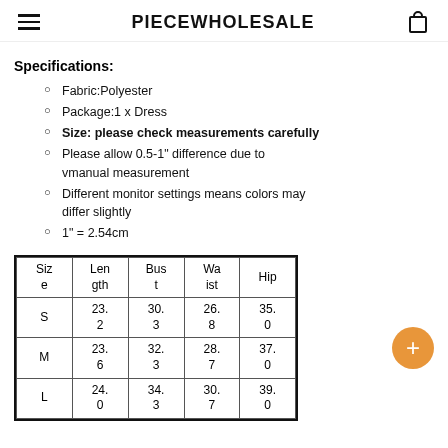PIECEWHOLESALE
Specifications:
Fabric:Polyester
Package:1 x Dress
Size: please check measurements carefully
Please allow 0.5-1" difference due to vmanual measurement
Different monitor settings means colors may differ slightly
1" = 2.54cm
| Size | Length | Bust | Waist | Hip |
| --- | --- | --- | --- | --- |
| S | 23.2 | 30.3 | 26.8 | 35.0 |
| M | 23.6 | 32.3 | 28.7 | 37.0 |
| L | 24.0 | 34.3 | 30.7 | 39.0 |